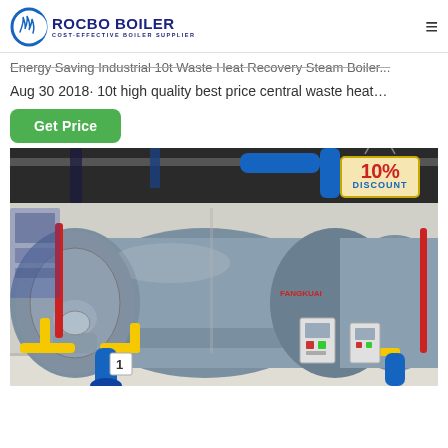ROCBO BOILER - COST-EFFECTIVE BOILER SUPPLIER
Energy Saving Industrial 10t Waste Heat Recovery Steam Boiler...
Aug 30 2018· 10t high quality best price central waste heat...
Get Price
[Figure (photo): Industrial boiler room showing multiple large cylindrical steam boilers with yellow and blue piping, with a 10% DISCOUNT tag overlay in the top right corner.]